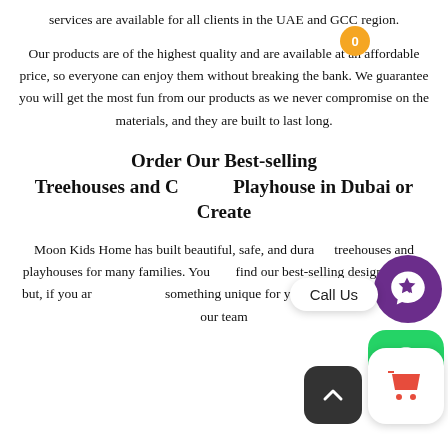services are available for all clients in the UAE and GCC region.
Our products are of the highest quality and are available at an affordable price, so everyone can enjoy them without breaking the bank. We guarantee you will get the most fun from our products as we never compromise on the materials, and they are built to last long.
Order Our Best-selling Treehouses and Custom Playhouse in Dubai or Create
Moon Kids Home has built beautiful, safe, and durable treehouses and playhouses for many families. You can find our best-selling designs online but, if you are looking for something unique for your kids, you can contact our team